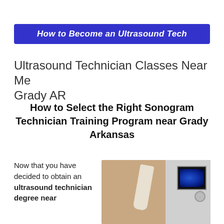How to Become an Ultrasound Tech
Ultrasound Technician Classes Near Me Grady AR
How to Select the Right Sonogram Technician Training Program near Grady Arkansas
Now that you have decided to obtain an ultrasound technician degree near
[Figure (photo): Person performing an ultrasound exam with a probe on a patient, ultrasound machine with screen showing blue scan image visible in background]